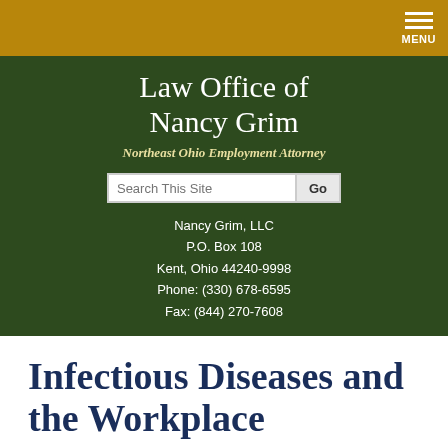MENU
Law Office of Nancy Grim
Northeast Ohio Employment Attorney
Search This Site
Nancy Grim, LLC
P.O. Box 108
Kent, Ohio 44240-9998
Phone: (330) 678-6595
Fax: (844) 270-7608
Infectious Diseases and the Workplace